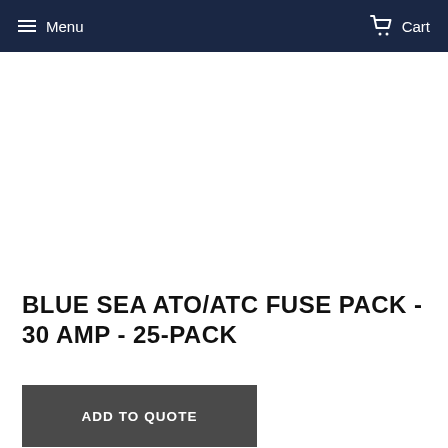Menu   Cart
BLUE SEA ATO/ATC FUSE PACK - 30 AMP - 25-PACK
ADD TO QUOTE